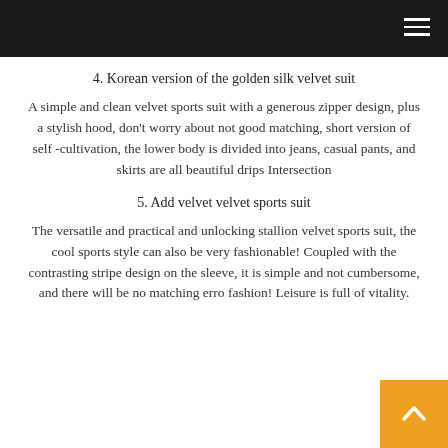4. Korean version of the golden silk velvet suit
A simple and clean velvet sports suit with a generous zipper design, plus a stylish hood, don't worry about not good matching, short version of self -cultivation, the lower body is divided into jeans, casual pants, and skirts are all beautiful drips Intersection
5. Add velvet velvet sports suit
The versatile and practical and unlocking stallion velvet sports suit, the cool sports style can also be very fashionable! Coupled with the contrasting stripe design on the sleeve, it is simple and not cumbersome, and there will be no matching erro fashion! Leisure is full of vitality.